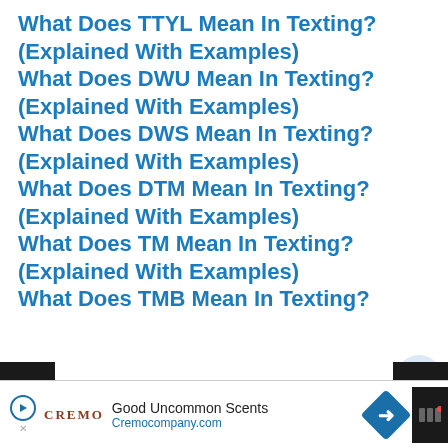What Does TTYL Mean In Texting? (Explained With Examples)
What Does DWU Mean In Texting? (Explained With Examples)
What Does DWS Mean In Texting? (Explained With Examples)
What Does DTM Mean In Texting? (Explained With Examples)
What Does TM Mean In Texting? (Explained With Examples)
What Does TMB Mean In Texting?
[Figure (infographic): Social sharing sidebar with heart/like button showing count of 1, and a share button]
[Figure (infographic): What's Next panel showing a thumbnail and text 'What Does Lil Mean In Rap...']
[Figure (infographic): Advertisement bar at bottom: Cremo - Good Uncommon Scents - Cremocompany.com]